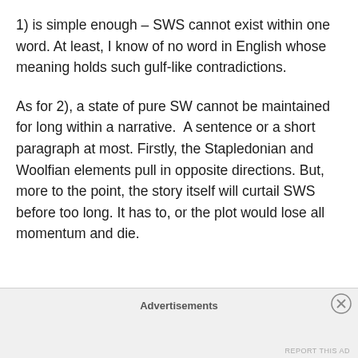1) is simple enough – SWS cannot exist within one word. At least, I know of no word in English whose meaning holds such gulf-like contradictions.
As for 2), a state of pure SW cannot be maintained for long within a narrative.  A sentence or a short paragraph at most. Firstly, the Stapledonian and Woolfian elements pull in opposite directions. But, more to the point, the story itself will curtail SWS before too long. It has to, or the plot would lose all momentum and die.
Advertisements